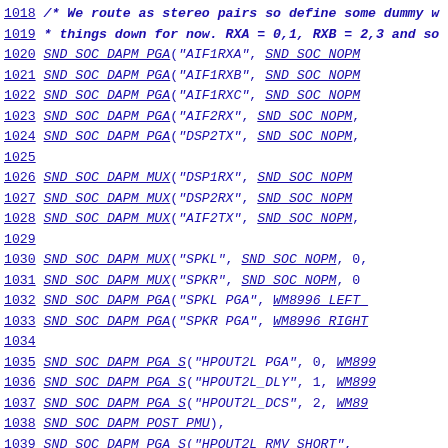Code listing lines 1018-1042 showing SND_SOC_DAPM macro definitions in C source code
1018 /* We route as stereo pairs so define some dummy w
1019  * things down for now.  RXA = 0,1, RXB = 2,3 and so
1020 SND_SOC_DAPM_PGA("AIF1RXA", SND_SOC_NOPM
1021 SND_SOC_DAPM_PGA("AIF1RXB", SND_SOC_NOPM
1022 SND_SOC_DAPM_PGA("AIF1RXC", SND_SOC_NOPM
1023 SND_SOC_DAPM_PGA("AIF2RX", SND_SOC_NOPM,
1024 SND_SOC_DAPM_PGA("DSP2TX", SND_SOC_NOPM,
1025
1026 SND_SOC_DAPM_MUX("DSP1RX", SND_SOC_NOPM
1027 SND_SOC_DAPM_MUX("DSP2RX", SND_SOC_NOPM
1028 SND_SOC_DAPM_MUX("AIF2TX", SND_SOC_NOPM,
1029
1030 SND_SOC_DAPM_MUX("SPKL", SND_SOC_NOPM, 0,
1031 SND_SOC_DAPM_MUX("SPKR", SND_SOC_NOPM, 0
1032 SND_SOC_DAPM_PGA("SPKL PGA", WM8996_LEFT_
1033 SND_SOC_DAPM_PGA("SPKR PGA", WM8996_RIGHT
1034
1035 SND_SOC_DAPM_PGA_S("HPOUT2L PGA", 0, WM899
1036 SND_SOC_DAPM_PGA_S("HPOUT2L_DLY", 1, WM899
1037 SND_SOC_DAPM_PGA_S("HPOUT2L_DCS", 2, WM89
1038         SND_SOC_DAPM_POST_PMU),
1039 SND_SOC_DAPM_PGA_S("HPOUT2L_RMV_SHORT",
1040         rmv_short_event,
1041         SND_SOC_DAPM_PRE_PMU | SND_SOC
1042